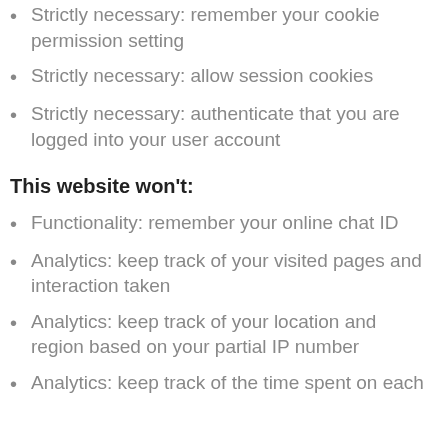Strictly necessary: remember your cookie permission setting
Strictly necessary: allow session cookies
Strictly necessary: authenticate that you are logged into your user account
This website won't:
Functionality: remember your online chat ID
Analytics: keep track of your visited pages and interaction taken
Analytics: keep track of your location and region based on your partial IP number
Analytics: keep track of the time spent on each page and the links you click on